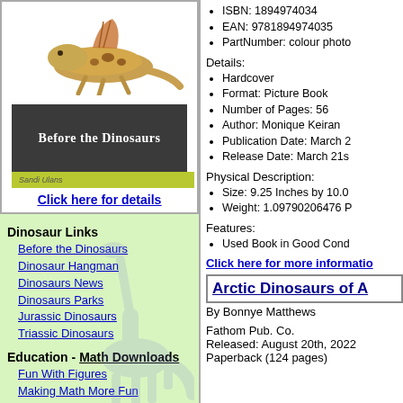[Figure (illustration): Book cover image for 'Before the Dinosaurs' by Sandi Ulans, showing a lizard-like creature illustration above a dark book cover with yellow-green stripe]
Click here for details
Dinosaur Links
Before the Dinosaurs
Dinosaur Hangman
Dinosaurs News
Dinosaurs Parks
Jurassic Dinosaurs
Triassic Dinosaurs
Education - Math Downloads
Fun With Figures
Making Math More Fun
Math Bingo
Math Riddle Book
Download Math eBooks
Education - Reading Downloads
Child Learning Reading
Dolch Sight Words
Phonics Bingo
ISBN: 1894974034
EAN: 9781894974035
PartNumber: colour photo
Details:
Hardcover
Format: Picture Book
Number of Pages: 56
Author: Monique Keiran
Publication Date: March 2
Release Date: March 21st
Physical Description:
Size: 9.25 Inches by 10.0
Weight: 1.09790206476 P
Features:
Used Book in Good Cond
Click here for more information
Arctic Dinosaurs of A
By Bonnye Matthews
Fathom Pub. Co.
Released: August 20th, 2022
Paperback (124 pages)